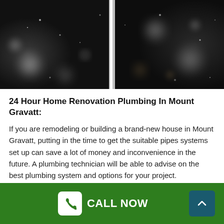[Figure (photo): Close-up of dark, wet or dusty glass surface with a vertical white stripe/light reflection in the center, dark bokeh background]
24 Hour Home Renovation Plumbing In Mount Gravatt:
If you are remodeling or building a brand-new house in Mount Gravatt, putting in the time to get the suitable pipes systems set up can save a lot of money and inconvenience in the future. A plumbing technician will be able to advise on the best plumbing system and options for your project.
CALL NOW